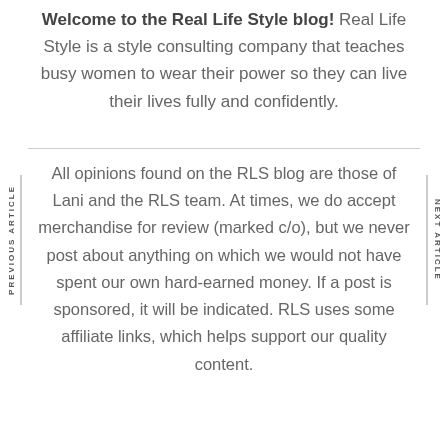Welcome to the Real Life Style blog! Real Life Style is a style consulting company that teaches busy women to wear their power so they can live their lives fully and confidently.
All opinions found on the RLS blog are those of Lani and the RLS team. At times, we do accept merchandise for review (marked c/o), but we never post about anything on which we would not have spent our own hard-earned money. If a post is sponsored, it will be indicated. RLS uses some affiliate links, which helps support our quality content.